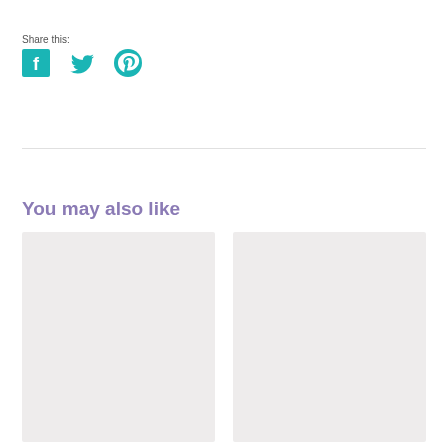Share this:
[Figure (illustration): Three social media share icons: Facebook (F), Twitter (bird), Pinterest (P) in teal color]
[Figure (illustration): Two light gray placeholder cards side by side under 'You may also like' section header]